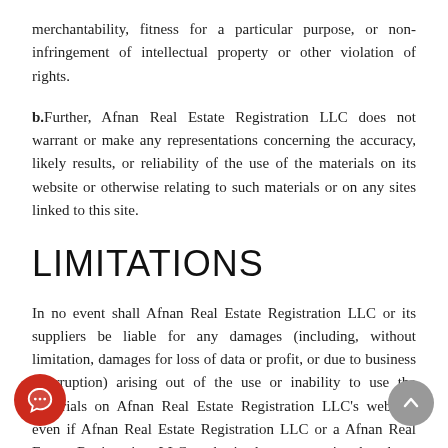merchantability, fitness for a particular purpose, or non-infringement of intellectual property or other violation of rights.
b. Further, Afnan Real Estate Registration LLC does not warrant or make any representations concerning the accuracy, likely results, or reliability of the use of the materials on its website or otherwise relating to such materials or on any sites linked to this site.
LIMITATIONS
In no event shall Afnan Real Estate Registration LLC or its suppliers be liable for any damages (including, without limitation, damages for loss of data or profit, or due to business interruption) arising out of the use or inability to use the materials on Afnan Real Estate Registration LLC's website, even if Afnan Real Estate Registration LLC or a Afnan Real Estate Registration LLC authorized representative has been notified orally or in writing of the possibility of such damage.Because some jurisdictions do not allow limitations on implied warranties, or limitations of liability for consequential or